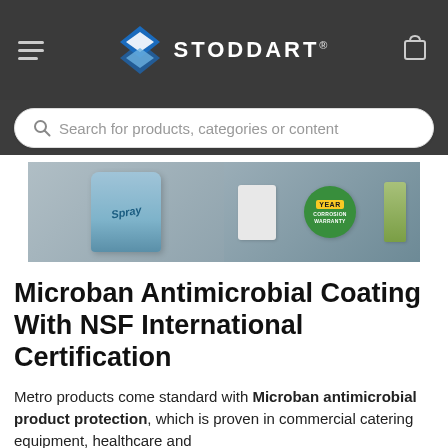STODDART
Search for products, categories or content
[Figure (photo): Shelving unit storing cleaning spray cans, white boxes/packages, and olive oil/cooking oil bottles, with a green circular corrosion warranty badge visible.]
Microban Antimicrobial Coating With NSF International Certification
Metro products come standard with Microban antimicrobial product protection, which is proven in commercial catering equipment, healthcare and